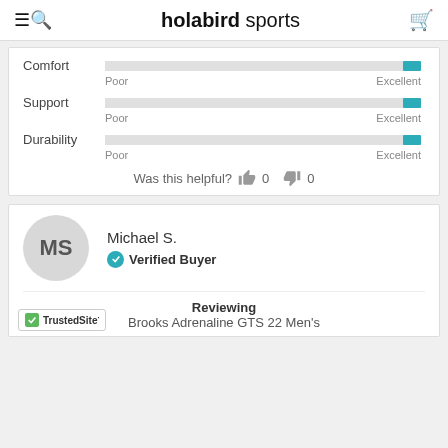holabird sports
[Figure (infographic): Rating bars for Comfort, Support, and Durability each showing a slider near the Excellent end, with Poor and Excellent scale labels below each bar.]
Was this helpful? 0 0
Michael S.
Verified Buyer
Reviewing
Brooks Adrenaline GTS 22 Men's